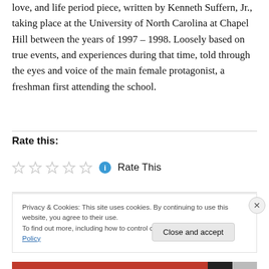love, and life period piece, written by Kenneth Suffern, Jr., taking place at the University of North Carolina at Chapel Hill between the years of 1997 – 1998. Loosely based on true events, and experiences during that time, told through the eyes and voice of the main female protagonist, a freshman first attending the school.
Rate this:
[Figure (other): Five empty star rating icons followed by a blue info circle icon and the text 'Rate This']
Privacy & Cookies: This site uses cookies. By continuing to use this website, you agree to their use. To find out more, including how to control cookies, see here: Cookie Policy
Close and accept